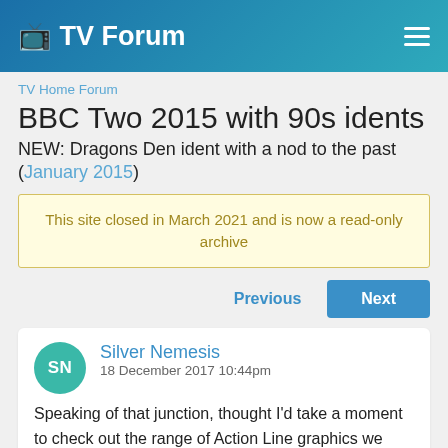TV Forum
TV Home Forum
BBC Two 2015 with 90s idents
NEW: Dragons Den ident with a nod to the past (January 2015)
This site closed in March 2021 and is now a read-only archive
Previous | Next
Silver Nemesis
18 December 2017 10:44pm

Speaking of that junction, thought I'd take a moment to check out the range of Action Line graphics we have at the moment...